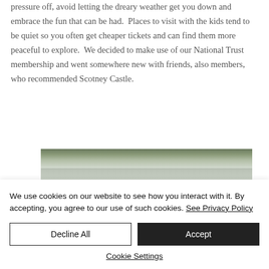pressure off, avoid letting the dreary weather get you down and embrace the fun that can be had.  Places to visit with the kids tend to be quiet so you often get cheaper tickets and can find them more peaceful to explore.  We decided to make use of our National Trust membership and went somewhere new with friends, also members, who recommended Scotney Castle.
[Figure (photo): Partial photograph showing tops of trees against an overcast sky, viewed from below.]
We use cookies on our website to see how you interact with it. By accepting, you agree to our use of such cookies. See Privacy Policy
Decline All
Accept
Cookie Settings